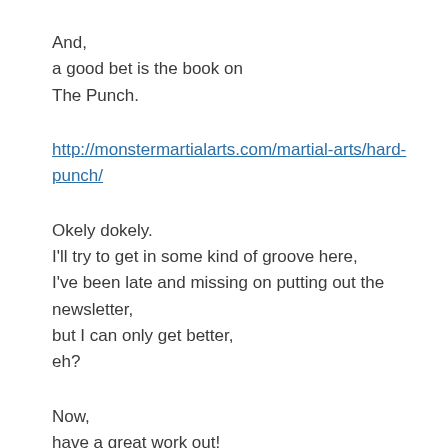And,
a good bet is the book on
The Punch.
http://monstermartialarts.com/martial-arts/hard-punch/
Okely dokely.
I'll try to get in some kind of groove here,
I've been late and missing on putting out the newsletter,
but I can only get better,
eh?
Now,
have a great work out!
Al
http://www.amazon.com/Matrixing-Tong-Bei-Internal-